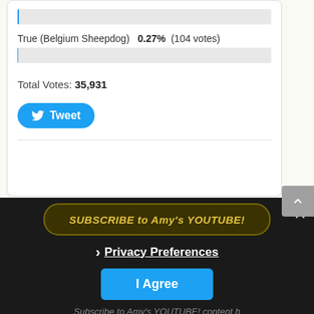[Figure (other): Top portion of a poll bar with a very thin blue fill on a gray background bar]
True (Belgium Sheepdog)   0.27%  (104 votes)
[Figure (other): Poll bar for True (Belgium Sheepdog) with minimal blue fill on gray background]
Total Votes: 35,931
[Figure (other): Tweet button with Twitter bird icon]
[Figure (screenshot): Dark overlay section with SUBSCRIBE to Amy's YOUTUBE! banner, Privacy Preferences link with chevron, I Agree button, close X button, and Subscribe to Amy's YOUTUBE! blurred text at bottom]